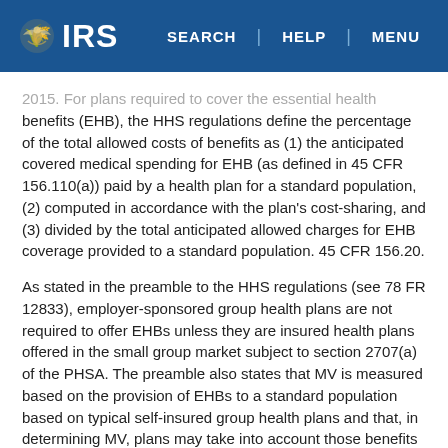IRS | SEARCH | HELP | MENU
2015. For plans required to cover the essential health benefits (EHB), the HHS regulations define the percentage of the total allowed costs of benefits as (1) the anticipated covered medical spending for EHB (as defined in 45 CFR 156.110(a)) paid by a health plan for a standard population, (2) computed in accordance with the plan's cost-sharing, and (3) divided by the total anticipated allowed charges for EHB coverage provided to a standard population. 45 CFR 156.20.
As stated in the preamble to the HHS regulations (see 78 FR 12833), employer-sponsored group health plans are not required to offer EHBs unless they are insured health plans offered in the small group market subject to section 2707(a) of the PHSA. The preamble also states that MV is measured based on the provision of EHBs to a standard population based on typical self-insured group health plans and that, in determining MV, plans may take into account those benefits covered by the employer that are covered in any one of the state EHB-benchmark plans. See 45 CFR 156.145(b).